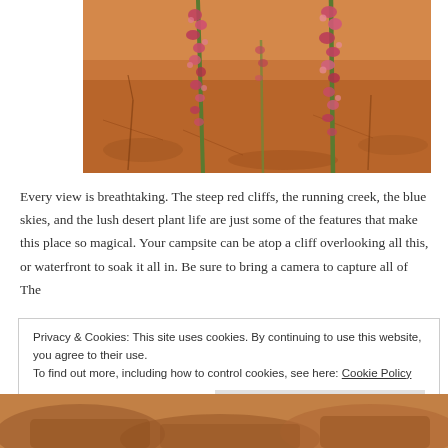[Figure (photo): Close-up of desert plants with small pink-red flowers on tall stalks against an orange-red sandy desert backdrop]
Every view is breathtaking. The steep red cliffs, the running creek, the blue skies, and the lush desert plant life are just some of the features that make this place so magical. Your campsite can be atop a cliff overlooking all this, or waterfront to soak it all in. Be sure to bring a camera to capture all of The
Privacy & Cookies: This site uses cookies. By continuing to use this website, you agree to their use.
To find out more, including how to control cookies, see here: Cookie Policy
Close and accept
[Figure (photo): Partial view of a rocky desert landscape at the bottom of the page]